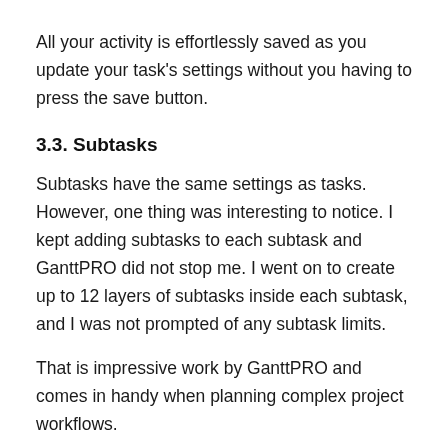All your activity is effortlessly saved as you update your task's settings without you having to press the save button.
3.3. Subtasks
Subtasks have the same settings as tasks. However, one thing was interesting to notice. I kept adding subtasks to each subtask and GanttPRO did not stop me. I went on to create up to 12 layers of subtasks inside each subtask, and I was not prompted of any subtask limits.
That is impressive work by GanttPRO and comes in handy when planning complex project workflows.